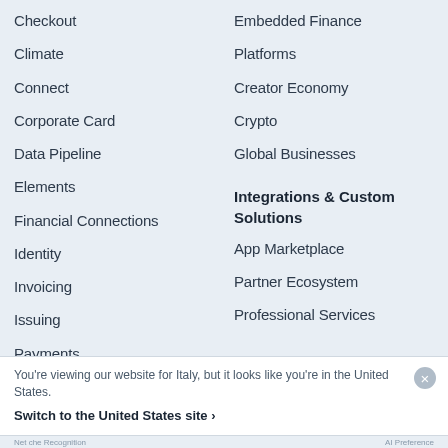Checkout
Embedded Finance
Climate
Platforms
Connect
Creator Economy
Corporate Card
Crypto
Data Pipeline
Global Businesses
Elements
Financial Connections
Integrations & Custom Solutions
Identity
App Marketplace
Invoicing
Partner Ecosystem
Issuing
Professional Services
Payments
Payment Links
You're viewing our website for Italy, but it looks like you're in the United States.
Switch to the United States site ›
Net che Recognition   AI Preference